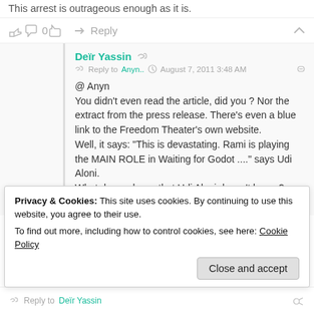This arrest is outrageous enough as it is.
👍 0 👎 ➜ Reply ∧
Deïr Yassin ⟨share⟩
Reply to Anyn.. © August 7, 2011 3:48 AM 🔗
@ Anyn
You didn't even read the article, did you ? Nor the extract from the press release. There's even a blue link to the Freedom Theater's own website.
Well, it says: "This is devastating. Rami is playing the MAIN ROLE in Waiting for Godot ...." says Udi Aloni.
What do you know that Udi Aloni doesn't know ? We're all
Privacy & Cookies: This site uses cookies. By continuing to use this website, you agree to their use.
To find out more, including how to control cookies, see here: Cookie Policy
Close and accept
Reply to Deïr Yassin